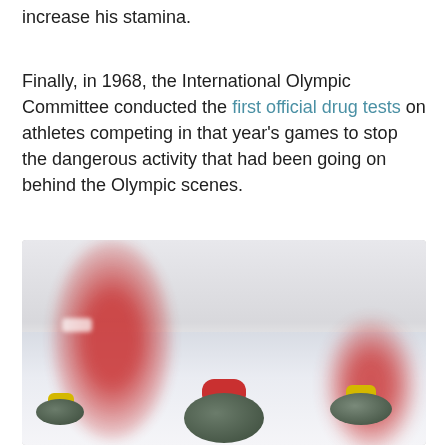increase his stamina.
Finally, in 1968, the International Olympic Committee conducted the first official drug tests on athletes competing in that year's games to stop the dangerous activity that had been going on behind the Olympic scenes.
[Figure (photo): Photograph of curling stones on an ice rink, with blurred athletes wearing red jackets in the background. The foreground shows a curling stone with a red handle, and additional stones with yellow handles on the sides.]